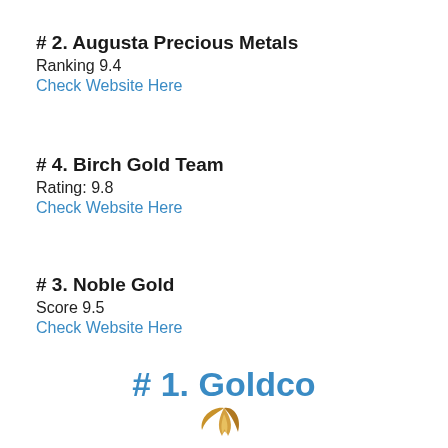# 2. Augusta Precious Metals
Ranking 9.4
Check Website Here
# 4. Birch Gold Team
Rating: 9.8
Check Website Here
# 3. Noble Gold
Score 9.5
Check Website Here
# 1. Goldco
[Figure (logo): Goldco logo with a golden flame/wing icon above the text GOLDCO in serif font with a registered trademark symbol]